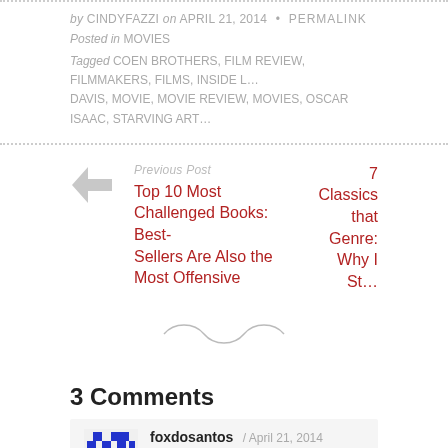by CINDYFAZZI on APRIL 21, 2014 • PERMALINK
Posted in MOVIES
Tagged COEN BROTHERS, FILM REVIEW, FILMMAKERS, FILMS, INSIDE L… DAVIS, MOVIE, MOVIE REVIEW, MOVIES, OSCAR ISAAC, STARVING ART…
Previous Post
Top 10 Most Challenged Books: Best-Sellers Are Also the Most Offensive
7 Classics that Genre: Why I St…
3 Comments
foxdosantos / April 21, 2014